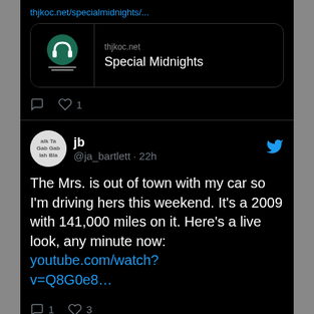thjkoc.net/specialmidnights/... (truncated link at top)
[Figure (screenshot): Link preview card for thjkoc.net showing a radio station logo (green headphones icon with text 'THE HITS JUST KEEP ON COMIN' Modulating Since 1975') and the title 'Special Midnights']
♡ 1
[Figure (screenshot): Twitter profile avatar for jb (@ja_bartlett) — circular image with text 'alk Ta Gab Gab lah Bla']
jb @ja_bartlett · 22h
The Mrs. is out of town with my car so I'm driving hers this weekend. It's a 2009 with 141,000 miles on it. Here's a live look, any minute now: youtube.com/watch?v=Q8G0e8…
💬 1  ♡ 3
View more on Twitter